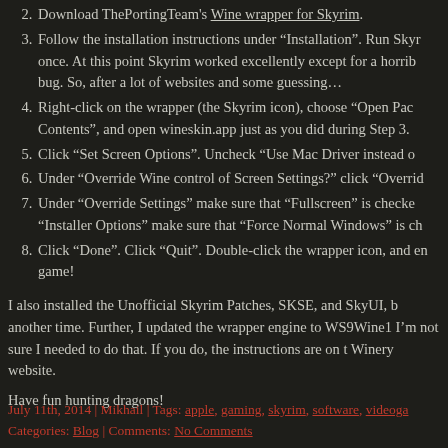2. Download ThePortingTeam's Wine wrapper for Skyrim.
3. Follow the installation instructions under “Installation”. Run Skyrim once. At this point Skyrim worked excellently except for a horrible bug. So, after a lot of websites and some guessing…
4. Right-click on the wrapper (the Skyrim icon), choose “Open Package Contents”, and open wineskin.app just as you did during Step 3.
5. Click “Set Screen Options”. Uncheck “Use Mac Driver instead of…
6. Under “Override Wine control of Screen Settings?” click “Override…
7. Under “Override Settings” make sure that “Fullscreen” is checked. Under “Installer Options” make sure that “Force Normal Windows” is checked.
8. Click “Done”. Click “Quit”. Double-click the wrapper icon, and enjoy the game!
I also installed the Unofficial Skyrim Patches, SKSE, and SkyUI, but that’s for another time. Further, I updated the wrapper engine to WS9Wine1.7.25, though I’m not sure I needed to do that. If you do, the instructions are on the Winery website.
Have fun hunting dragons!
July 11th, 2014 | Mikhail | Tags: apple, gaming, skyrim, software, videoga… Categories: Blog | Comments: No Comments